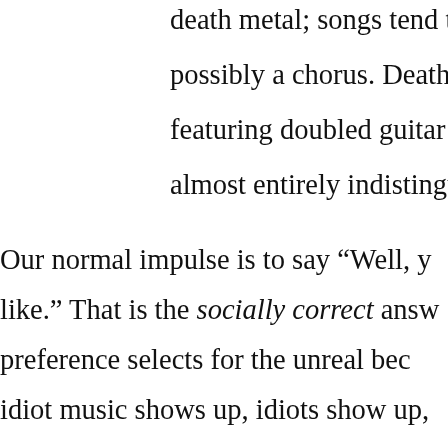death metal; songs tend to have o possibly a chorus. Deathcore comp featuring doubled guitar parts or s almost entirely indistinguishable. Our normal impulse is to say “Well, y like.” That is the socially correct answ preference selects for the unreal beca idiot music shows up, idiots show up, appropriate the style of your genre ar version of it, they will replace you. Yo new versions of it will come out becat unless he or she wants to profit from